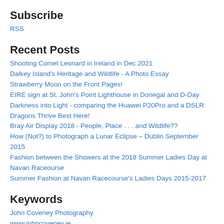Subscribe
RSS
Recent Posts
Shooting Comet Leonard in Ireland in Dec 2021
Dalkey Island's Heritage and Wildlife - A Photo Essay
Strawberry Moon on the Front Pages!
EIRE sign at St. John's Point Lighthouse in Donegal and D-Day
Darkness into Light - comparing the Huawei P20Pro and a DSLR
Dragons Thrive Best Here!
Bray Air Display 2018 - People, Place . . . and Wildlife??
How (Not?) to Photograph a Lunar Eclipse – Dublin September 2015
Fashion between the Showers at the 2018 Summer Ladies Day at Navan Raceourse
Summer Fashion at Navan Racecourse's Ladies Days 2015-2017
Keywords
John Coveney Photography
www.johncoveney.ie
Ireland
Co. Dublin
John Coveney